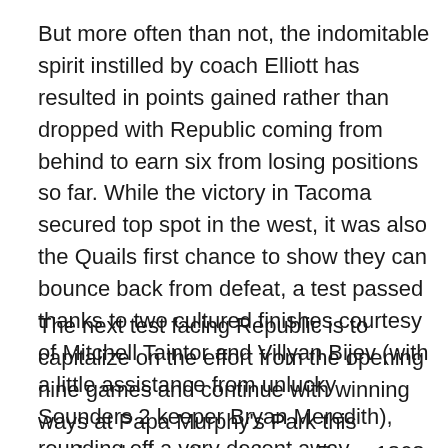But more often than not, the indomitable spirit instilled by coach Elliott has resulted in points gained rather than dropped with Republic coming from behind to earn six from losing positions so far. While the victory in Tacoma secured top spot in the west, it was also the Quails first chance to show they can bounce back from defeat, a test passed thanks to two cultured finishes courtesy of Mitchell Taintor and Villyan Bijev (with a little assistance from unlucky Sounders 2 keeper Bryan Meredith), rounding off a very decent away performance.
The next test facing Republic is to capitalize on the effort from the opening nine games and continue with winning ways at Papa Murphy's Park this weekend when they take on Reno 1868 FC. While 18 points from a possible 27 is a solid return at this stage, you